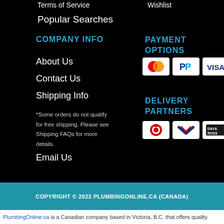Terms of Service
Popular Searches
Wishlist
COMPANY INFO
About Us
Contact Us
Shipping Info
*Some orders do not qualify for free shipping. Please see Shipping FAQs for more details.
Email Us
PAYMENT OPTIONS
[Figure (logo): Mastercard payment logo]
[Figure (logo): PayPal payment logo]
[Figure (logo): Visa payment logo]
DELIVERY PARTNERS
[Figure (logo): Canada Post delivery logo]
[Figure (logo): Canpar delivery logo]
[Figure (logo): Day & Ross delivery logo]
COPYRIGHT © 2022 PLUMBINGONLINE.CA (CANADA)
PlumbingOnline.ca is a Canadian company based in Victoria, B.C. that offers quality